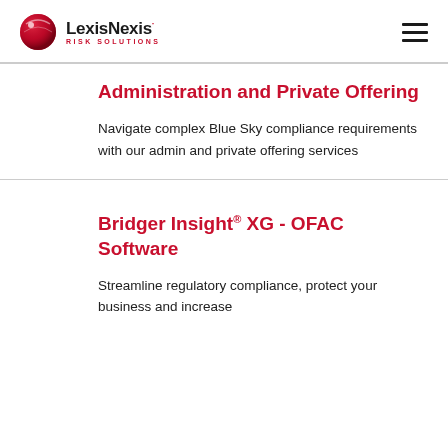LexisNexis Risk Solutions
Administration and Private Offering
Navigate complex Blue Sky compliance requirements with our admin and private offering services
Bridger Insight® XG - OFAC Software
Streamline regulatory compliance, protect your business and increase